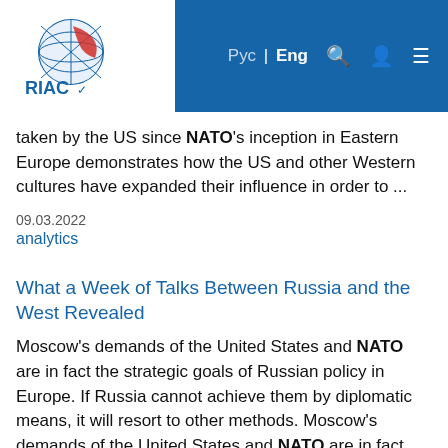RIAC | Рус | Eng
taken by the US since NATO's inception in Eastern Europe demonstrates how the US and other Western cultures have expanded their influence in order to ...
09.03.2022
analytics
What a Week of Talks Between Russia and the West Revealed
Moscow's demands of the United States and NATO are in fact the strategic goals of Russian policy in Europe. If Russia cannot achieve them by diplomatic means, it will resort to other methods. Moscow's demands of the United States and NATO are in fact the strategic goals of Russian policy ...
25.01.2022
comments